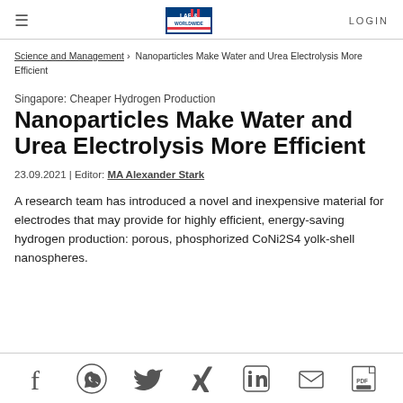LAB & WORLDWIDE | LOGIN
Science and Management > Nanoparticles Make Water and Urea Electrolysis More Efficient
Singapore: Cheaper Hydrogen Production
Nanoparticles Make Water and Urea Electrolysis More Efficient
23.09.2021 | Editor: MA Alexander Stark
A research team has introduced a novel and inexpensive material for electrodes that may provide for highly efficient, energy-saving hydrogen production: porous, phosphorized CoNi2S4 yolk-shell nanospheres.
Social share icons: Facebook, WhatsApp, Twitter, Xing, LinkedIn, Email, PDF